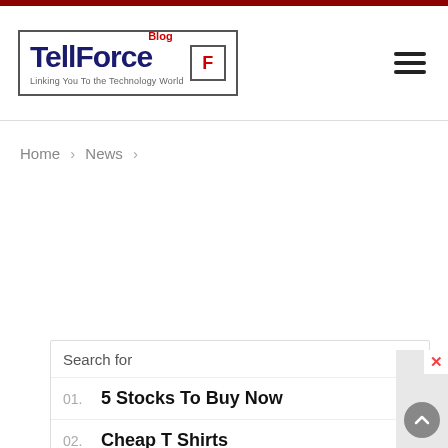[Figure (logo): TellForce Blog logo with icon and tagline]
Home > News >
01. 5 Stocks To Buy Now
02. Cheap T Shirts
Yahoo! Search | Sponsored